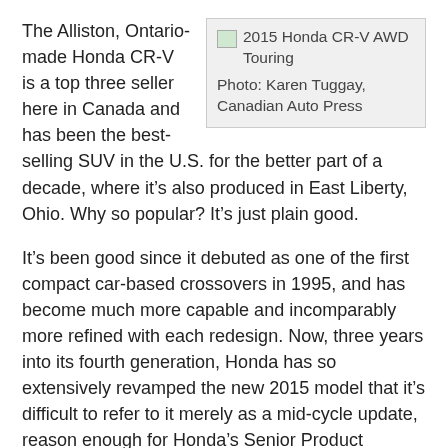The Alliston, Ontario-made Honda CR-V is a top three seller here in Canada and has been the best-selling SUV in the U.S. for the better part of a decade, where it's also produced in East Liberty, Ohio. Why so popular? It's just plain good.
[Figure (photo): Broken image placeholder for '2015 Honda CR-V AWD Touring' with caption 'Photo: Karen Tuggay, Canadian Auto Press']
Photo: Karen Tuggay, Canadian Auto Press
It's been good since it debuted as one of the first compact car-based crossovers in 1995, and has become much more capable and incomparably more refined with each redesign. Now, three years into its fourth generation, Honda has so extensively revamped the new 2015 model that it's difficult to refer to it merely as a mid-cycle update, reason enough for Honda's Senior Product Planner, Peter Johnson, to claim